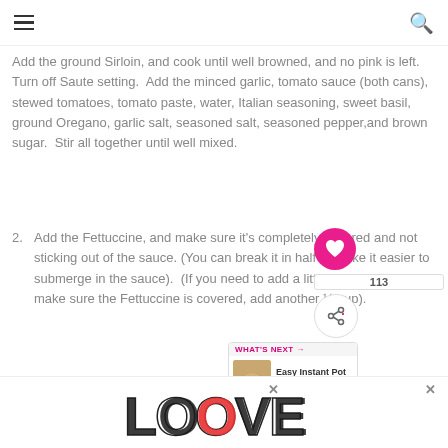≡  🔍
Add the ground Sirloin, and cook until well browned, and no pink is left.  Turn off Saute setting.  Add the minced garlic, tomato sauce (both cans), stewed tomatoes, tomato paste, water, Italian seasoning, sweet basil, ground Oregano, garlic salt, seasoned salt, seasoned pepper,and brown sugar.  Stir all together until well mixed.
2. Add the Fettuccine, and make sure it's completely covered and not sticking out of the sauce. (You can break it in half to make it easier to submerge in the sauce).  (If you need to add a little more water, to make sure the Fettuccine is covered, add another ½ cup).
3. Place the lid on the Instant Pot, and make sure the pressure valve is set to SEALING.  Press the
[Figure (infographic): LOOVE decorative text logo advertisement banner at bottom of page]
[Figure (infographic): What's Next widget showing Easy Instant Pot Cacio E... with food image, heart button (113 saves), and share button overlaid on content]